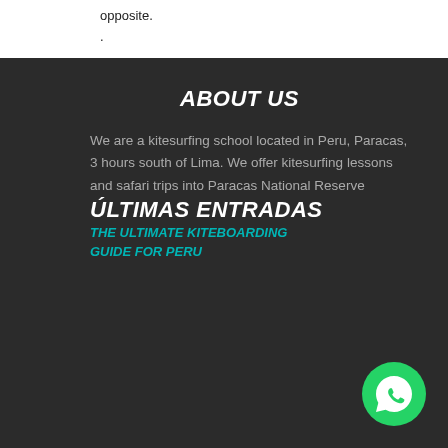opposite.
.
ABOUT US
We are a kitesurfing school located in Peru, Paracas, 3 hours south of Lima. We offer kitesurfing lessons and safari trips into Paracas National Reserve
ÚLTIMAS ENTRADAS
THE ULTIMATE KITEBOARDING GUIDE FOR PERU
[Figure (other): WhatsApp contact button (green circle with phone handset icon)]